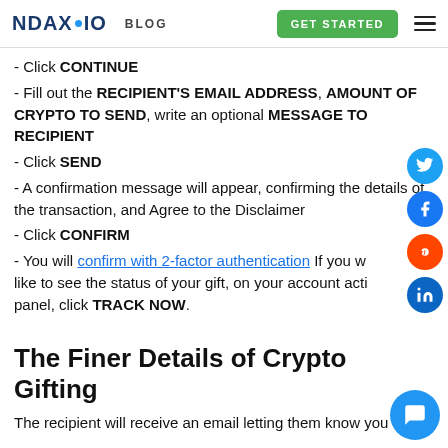NDAX.IO  BLOG  GET STARTED
- Click CONTINUE
- Fill out the RECIPIENT'S EMAIL ADDRESS, AMOUNT OF CRYPTO TO SEND, write an optional MESSAGE TO RECIPIENT
- Click SEND
- A confirmation message will appear, confirming the details of the transaction, and Agree to the Disclaimer
- Click CONFIRM
- You will confirm with 2-factor authentication If you w like to see the status of your gift, on your account acti panel, click TRACK NOW.
The Finer Details of Crypto Gifting
The recipient will receive an email letting them know you